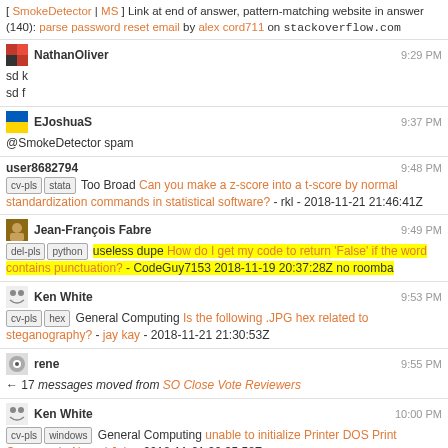[ SmokeDetector | MS ] Link at end of answer, pattern-matching website in answer (140): parse password reset email by alex cord711 on stackoverflow.com
NathanOliver 9:29 PM
sd k
sd f
EJoshuaS 9:37 PM
@SmokeDetector spam
user8682794 9:48 PM
cv-pls stata Too Broad Can you make a z-score into a t-score by normal standardization commands in statistical software? - rkl - 2018-11-21 21:46:41Z
Jean-François Fabre 9:49 PM
del-pls python useless dupe How do I get my code to return 'False' if the word contains punctuation? - CodeGuy7153 2018-11-19 20:37:28Z no roomba
Ken White 9:53 PM
cv-pls hex General Computing Is the following .JPG hex related to steganography? - jay kay - 2018-11-21 21:30:53Z
rene 9:55 PM
← 17 messages moved from SO Close Vote Reviewers
Ken White 10:00 PM
cv-pls windows General Computing unable to initialize Printer DOS Print Command - Neeraj Jain - 2018-11-21 20:35:58Z